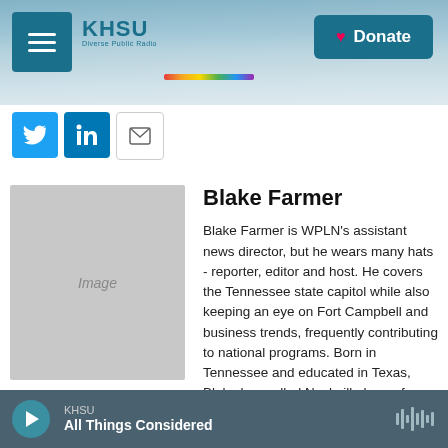KHSU | Donate
[Figure (logo): KHSU logo with rainbow bar and menu icon, plus Donate button on dark teal banner over coastal landscape background]
[Figure (infographic): Social share buttons: Twitter (blue bird), LinkedIn (blue), Email (envelope)]
[Figure (photo): Placeholder image box labeled 'Image' for Blake Farmer profile photo]
Blake Farmer
Blake Farmer is WPLN's assistant news director, but he wears many hats - reporter, editor and host. He covers the Tennessee state capitol while also keeping an eye on Fort Campbell and business trends, frequently contributing to national programs. Born in Tennessee and educated in Texas, Blake has called Nashville home for most of his life.
KHSU | All Things Considered